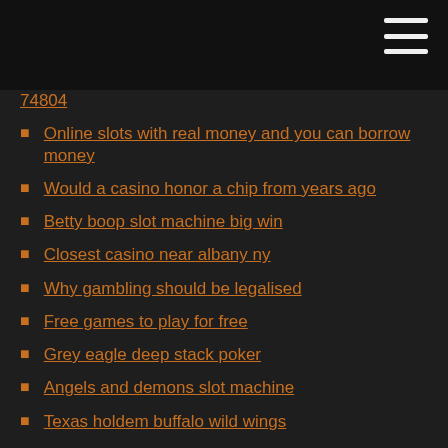74804
Online slots with real money and you can borrow money
Would a casino honor a chip from years ago
Betty boop slot machine big win
Closest casino near albany ny
Why gambling should be legalised
Free games to play for free
Grey eagle deep stack poker
Angels and demons slot machine
Texas holdem buffalo wild wings
A ball and bro casino poker card company
Governor of poker online game free
Free las vegas slots for free